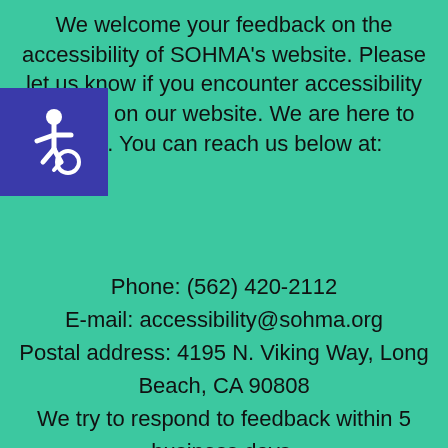[Figure (illustration): Wheelchair accessibility icon — white wheelchair symbol on a dark blue/purple square background, positioned at the top-left]
We welcome your feedback on the accessibility of SOHMA's website. Please let us know if you encounter accessibility barriers on our website. We are here to help. You can reach us below at:
Phone: (562) 420-2112
E-mail: accessibility@sohma.org
Postal address: 4195 N. Viking Way, Long Beach, CA 90808
We try to respond to feedback within 5 business days.